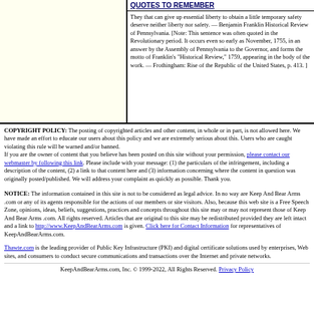QUOTES TO REMEMBER
They that can give up essential liberty to obtain a little temporary safety deserve neither liberty nor safety. — Benjamin Franklin Historical Review of Pennsylvania. [Note: This sentence was often quoted in the Revolutionary period. It occurs even so early as November, 1755, in an answer by the Assembly of Pennsylvania to the Governor, and forms the motto of Franklin's "Historical Review," 1759, appearing in the body of the work. — Frothingham: Rise of the Republic of the United States, p. 413. ]
COPYRIGHT POLICY: The posting of copyrighted articles and other content, in whole or in part, is not allowed here. We have made an effort to educate our users about this policy and we are extremely serious about this. Users who are caught violating this rule will be warned and/or banned.
If you are the owner of content that you believe has been posted on this site without your permission, please contact our webmaster by following this link. Please include with your message: (1) the particulars of the infringement, including a description of the content, (2) a link to that content here and (3) information concerning where the content in question was originally posted/published. We will address your complaint as quickly as possible. Thank you.
NOTICE: The information contained in this site is not to be considered as legal advice. In no way are Keep And Bear Arms .com or any of its agents responsible for the actions of our members or site visitors. Also, because this web site is a Free Speech Zone, opinions, ideas, beliefs, suggestions, practices and concepts throughout this site may or may not represent those of Keep And Bear Arms .com. All rights reserved. Articles that are original to this site may be redistributed provided they are left intact and a link to http://www.KeepAndBearArms.com is given. Click here for Contact Information for representatives of KeepAndBearArms.com.
Thawte.com is the leading provider of Public Key Infrastructure (PKI) and digital certificate solutions used by enterprises, Web sites, and consumers to conduct secure communications and transactions over the Internet and private networks.
KeepAndBearArms.com, Inc. © 1999-2022, All Rights Reserved. Privacy Policy